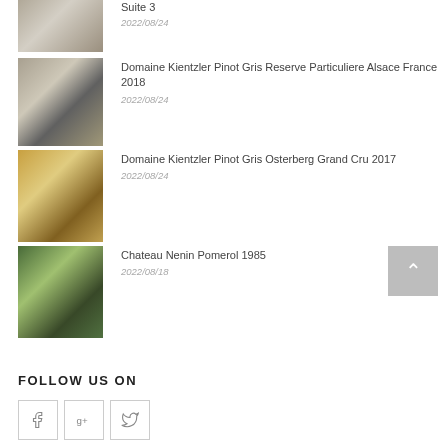Suite 3
2022/08/24
Domaine Kientzler Pinot Gris Reserve Particuliere Alsace France 2018
2022/08/24
Domaine Kientzler Pinot Gris Osterberg Grand Cru 2017
2022/08/24
Chateau Nenin Pomerol 1985
2022/08/18
FOLLOW US ON
[Figure (other): Social media icons: Facebook, Google+, Twitter in bordered square buttons]